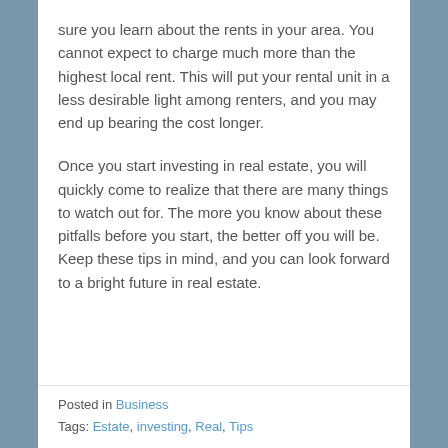sure you learn about the rents in your area. You cannot expect to charge much more than the highest local rent. This will put your rental unit in a less desirable light among renters, and you may end up bearing the cost longer.
Once you start investing in real estate, you will quickly come to realize that there are many things to watch out for. The more you know about these pitfalls before you start, the better off you will be. Keep these tips in mind, and you can look forward to a bright future in real estate.
Posted in Business
Tags: Estate, investing, Real, Tips